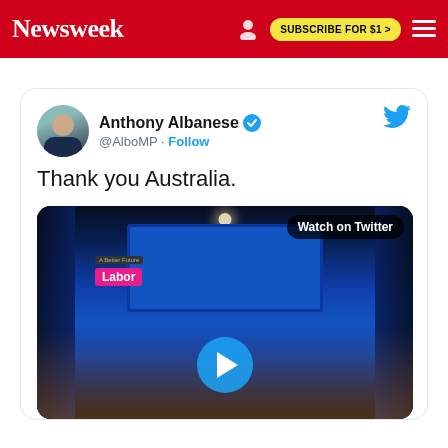Newsweek | SUBSCRIBE FOR $1 >
[Figure (screenshot): Tweet from Anthony Albanese (@AlboMP) with text 'Thank you Australia.' and an embedded video thumbnail showing a Labor party event on stage with blue lighting and a play button overlay with 'Watch on Twitter' badge]